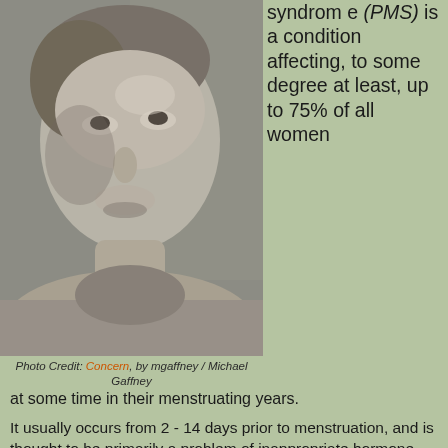[Figure (photo): Black and white photograph of a middle-aged woman looking upward, wearing a hoodie. Photo credit: Concern, by mgaffney / Michael Gaffney.]
syndrome (PMS) is a condition affecting, to some degree at least, up to 75% of all women
Photo Credit: Concern, by mgaffney / Michael Gaffney
at some time in their menstruating years.
It usually occurs from 2 - 14 days prior to menstruation, and is thought to be primarily a problem of inappropriate hormone secretion or inappropriate bodily response to hormones (receptor site defects or enzyme defects at cell surfaces).
Symptoms are many and varied, often inconsistent from month to month and affected by many different factors.